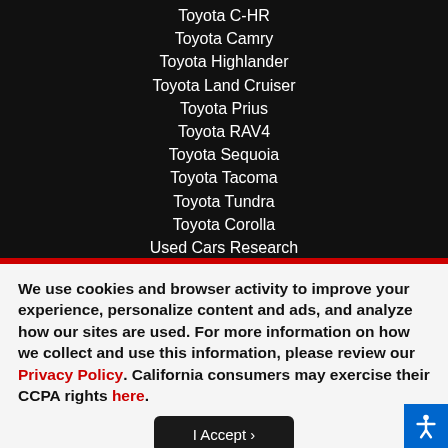Toyota C-HR
Toyota Camry
Toyota Highlander
Toyota Land Cruiser
Toyota Prius
Toyota RAV4
Toyota Sequoia
Toyota Tacoma
Toyota Tundra
Toyota Corolla
Used Cars Research
We use cookies and browser activity to improve your experience, personalize content and ads, and analyze how our sites are used. For more information on how we collect and use this information, please review our Privacy Policy. California consumers may exercise their CCPA rights here.